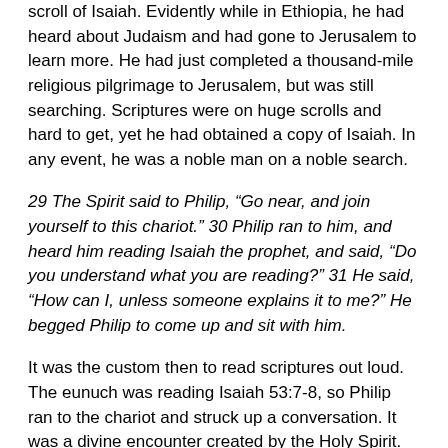scroll of Isaiah. Evidently while in Ethiopia, he had heard about Judaism and had gone to Jerusalem to learn more. He had just completed a thousand-mile religious pilgrimage to Jerusalem, but was still searching. Scriptures were on huge scrolls and hard to get, yet he had obtained a copy of Isaiah. In any event, he was a noble man on a noble search.
29 The Spirit said to Philip, “Go near, and join yourself to this chariot.” 30 Philip ran to him, and heard him reading Isaiah the prophet, and said, “Do you understand what you are reading?” 31 He said, “How can I, unless someone explains it to me?” He begged Philip to come up and sit with him.
It was the custom then to read scriptures out loud. The eunuch was reading Isaiah 53:7-8, so Philip ran to the chariot and struck up a conversation. It was a divine encounter created by the Holy Spirit.
32 Now the passage of the Scripture which he was reading was this, “He was led as a sheep to the slaughter. As a lamb before his shearer is silent, so he doesn’t open his mouth. 33 In his humiliation, his judgment was taken away. Who will declare His generation? For his life is taken from the earth.” 34 The eunuch answered Philip, “Who is the prophet